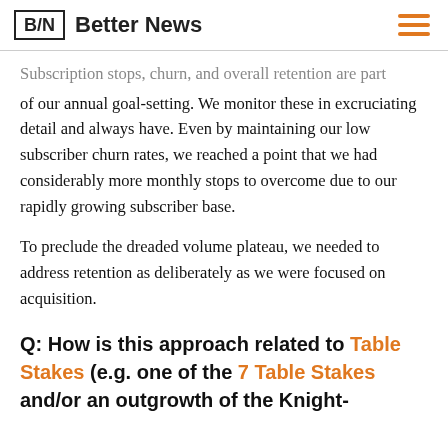B/N  Better News
Subscription stops, churn, and overall retention are part of our annual goal-setting. We monitor these in excruciating detail and always have. Even by maintaining our low subscriber churn rates, we reached a point that we had considerably more monthly stops to overcome due to our rapidly growing subscriber base.
To preclude the dreaded volume plateau, we needed to address retention as deliberately as we were focused on acquisition.
Q: How is this approach related to Table Stakes (e.g. one of the 7 Table Stakes and/or an outgrowth of the Knight-